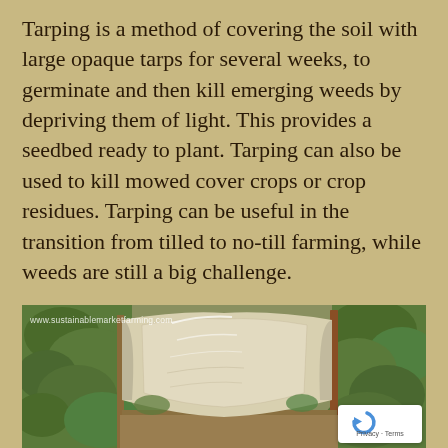Tarping is a method of covering the soil with large opaque tarps for several weeks, to germinate and then kill emerging weeds by depriving them of light. This provides a seedbed ready to plant. Tarping can also be used to kill mowed cover crops or crop residues. Tarping can be useful in the transition from tilled to no-till farming, while weeds are still a big challenge.
[Figure (photo): Outdoor garden photograph showing a garden bed covered with a light-colored tarp or row cover fabric, surrounded by green plants on both sides. A wooden stake is visible on the right. Watermark reads www.sustainablemarketfarming.com. A reCAPTCHA badge appears in the bottom-right corner with 'Privacy - Terms' text.]